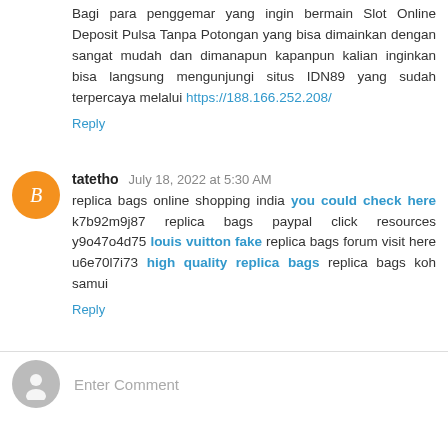Bagi para penggemar yang ingin bermain Slot Online Deposit Pulsa Tanpa Potongan yang bisa dimainkan dengan sangat mudah dan dimanapun kapanpun kalian inginkan bisa langsung mengunjungi situs IDN89 yang sudah terpercaya melalui https://188.166.252.208/
Reply
tatetho July 18, 2022 at 5:30 AM
replica bags online shopping india you could check here k7b92m9j87 replica bags paypal click resources y9o47o4d75 louis vuitton fake replica bags forum visit here u6e70l7i73 high quality replica bags replica bags koh samui
Reply
Enter Comment